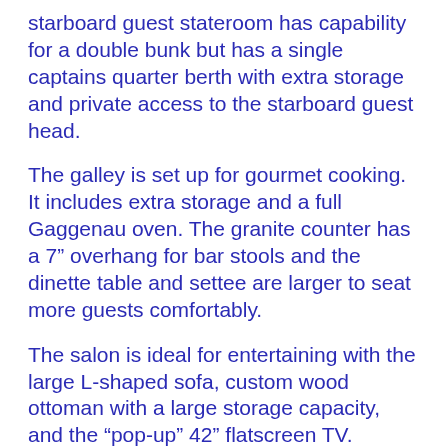starboard guest stateroom has capability for a double bunk but has a single captains quarter berth with extra storage and private access to the starboard guest head.
The galley is set up for gourmet cooking. It includes extra storage and a full Gaggenau oven. The granite counter has a 7" overhang for bar stools and the dinette table and settee are larger to seat more guests comfortably.
The salon is ideal for entertaining with the large L-shaped sofa, custom wood ottoman with a large storage capacity, and the “pop-up” 42” flatscreen TV.
Access to the enclosed flybridge is easy from the salon via a spiral stairway or a ladder from the cockpit. Running the boat from the enclosed bridge is like being in a second salon / living room. The bridge has